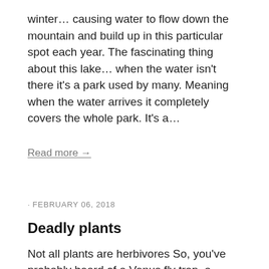winter… causing water to flow down the mountain and build up in this particular spot each year. The fascinating thing about this lake… when the water isn't there it's a park used by many. Meaning when the water arrives it completely covers the whole park. It's a…
Read more →
· FEBRUARY 06, 2018
Deadly plants
Not all plants are herbivores So, you've probably heard of a Venus fly trap, a carnivorous plant that waits for its prey (flies and small insects) to land on them, they then close on the insect like a mouth,